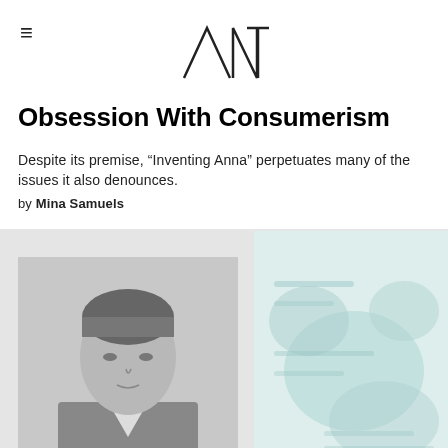ANT (logo)
Obsession With Consumerism
Despite its premise, “Inventing Anna” perpetuates many of the issues it also denounces.
by Mina Samuels
[Figure (photo): Left: black and white portrait photograph of a person. Right: blurred document or map with light blue/green tones, appears to be a passport or official document.]